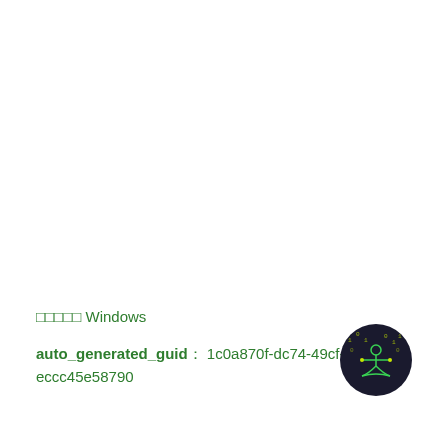□□□□□ Windows
auto_generated_guid： 1c0a870f-dc74-49cf-9afc-eccc45e58790
[Figure (logo): Dark circular logo with a yellow-green digital human figure and binary code pattern on a dark background]